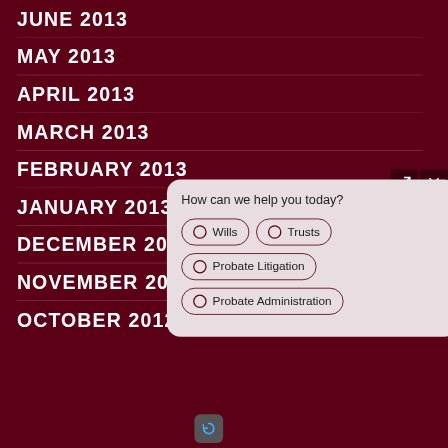JUNE 2013
MAY 2013
APRIL 2013
MARCH 2013
FEBRUARY 2013
JANUARY 2013
DECEMBER 2012
NOVEMBER 2012
OCTOBER 2012
[Figure (screenshot): Chat widget popup with question 'How can we help you today?' and radio button options: Wills, Trusts, Probate Litigation, Probate Administration. Dark maroon close and open-in-new-tab icons in top right corner. Refresh icon at bottom.]